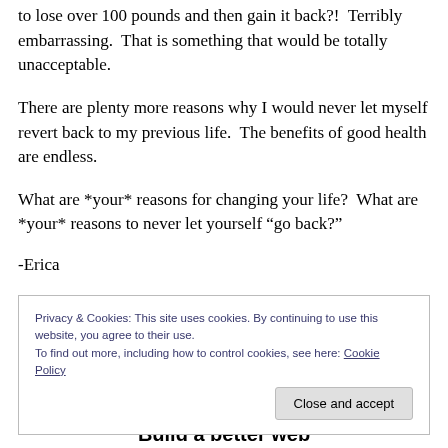to lose over 100 pounds and then gain it back?!  Terribly embarrassing.  That is something that would be totally unacceptable.
There are plenty more reasons why I would never let myself revert back to my previous life.  The benefits of good health are endless.
What are *your* reasons for changing your life?  What are *your* reasons to never let yourself “go back?”
-Erica
Privacy & Cookies: This site uses cookies. By continuing to use this website, you agree to their use.
To find out more, including how to control cookies, see here: Cookie Policy
Build a better web